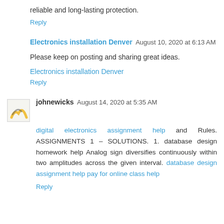reliable and long-lasting protection.
Reply
Electronics installation Denver  August 10, 2020 at 6:13 AM
Please keep on posting and sharing great ideas.
Electronics installation Denver
Reply
johnewicks  August 14, 2020 at 5:35 AM
digital electronics assignment help and Rules. ASSIGNMENTS 1 – SOLUTIONS. 1. database design homework help Analog sign diversifies continuously within two amplitudes across the given interval. database design assignment help pay for online class help
Reply